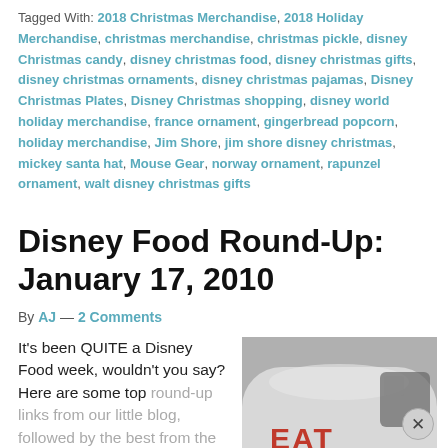Tagged With: 2018 Christmas Merchandise, 2018 Holiday Merchandise, christmas merchandise, christmas pickle, disney Christmas candy, disney christmas food, disney christmas gifts, disney christmas ornaments, disney christmas pajamas, Disney Christmas Plates, Disney Christmas shopping, disney world holiday merchandise, france ornament, gingerbread popcorn, holiday merchandise, Jim Shore, jim shore disney christmas, mickey santa hat, Mouse Gear, norway ornament, rapunzel ornament, walt disney christmas gifts
Disney Food Round-Up: January 17, 2010
By AJ — 2 Comments
It's been QUITE a Disney Food week, wouldn't you say? Here are some top round-up links from our little blog, followed by the best from the rest...
[Figure (photo): Photo of a white rounded vehicle or trailer with red text reading 'EAT HERE!' painted on the side]